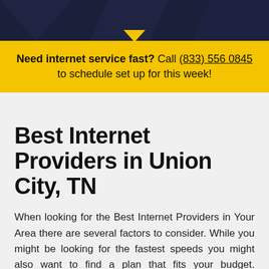[Figure (other): Dark navy header bar with decorative background graphic]
Need internet service fast? Call (833) 556 0845 to schedule set up for this week!
Best Internet Providers in Union City, TN
When looking for the Best Internet Providers in Your Area there are several factors to consider. While you might be looking for the fastest speeds you might also want to find a plan that fits your budget. Remember that not everyone needs the fastest plans so you can